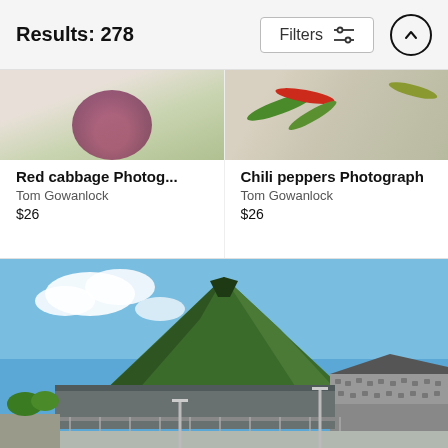Results: 278
Red cabbage Photog...
Tom Gowanlock
$26
Chili peppers Photograph
Tom Gowanlock
$26
[Figure (photo): Landscape photo of a green volcanic mountain with buildings and a stone structure in the foreground, blue sky with clouds]
Filters button with sliders icon and up arrow circle button